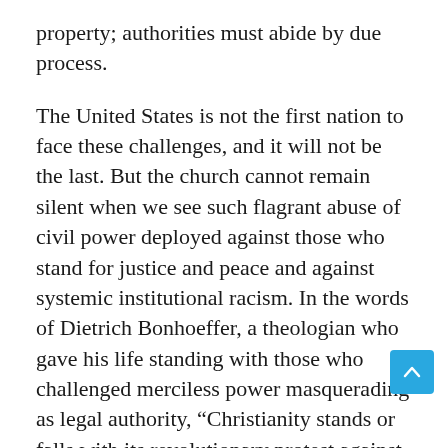property; authorities must abide by due process.
The United States is not the first nation to face these challenges, and it will not be the last. But the church cannot remain silent when we see such flagrant abuse of civil power deployed against those who stand for justice and peace and against systemic institutional racism. In the words of Dietrich Bonhoeffer, a theologian who gave his life standing with those who challenged merciless power masquerading as legal authority, “Christianity stands or falls with its revolutionary protest against violence, arbitrariness, and pride of power, and with its plea for the weak.”
May we all, in our shared witness to the love, justice, and reconciliation proclaimed and embodied in Jesus Christ, do all in our power to return the streets of all our cities to the peace of the heavenly city